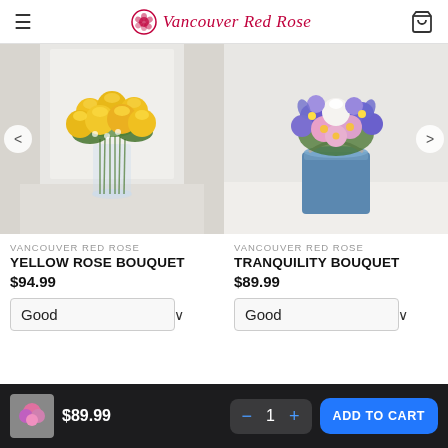Vancouver Red Rose
[Figure (photo): Yellow rose bouquet in a clear glass vase with green stems visible]
[Figure (photo): Mixed purple, pink and white flower bouquet in a blue tin can with a metal handle]
VANCOUVER RED ROSE
YELLOW ROSE BOUQUET
$94.99
VANCOUVER RED ROSE
TRANQUILITY BOUQUET
$89.99
[Figure (photo): Small thumbnail of pink flowers in the bottom cart bar]
$89.99
ADD TO CART